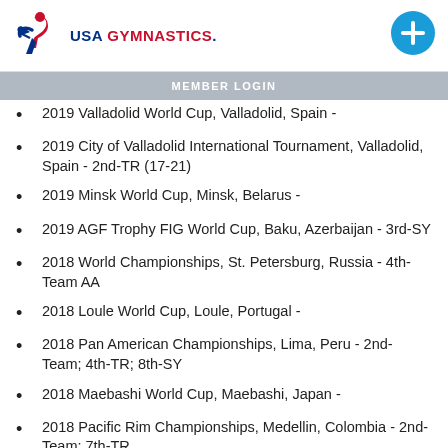USA GYMNASTICS
MEMBER LOGIN
2019 Valladolid World Cup, Valladolid, Spain -
2019 City of Valladolid International Tournament, Valladolid, Spain - 2nd-TR (17-21)
2019 Minsk World Cup, Minsk, Belarus -
2019 AGF Trophy FIG World Cup, Baku, Azerbaijan - 3rd-SY
2018 World Championships, St. Petersburg, Russia - 4th-Team AA
2018 Loule World Cup, Loule, Portugal -
2018 Pan American Championships, Lima, Peru - 2nd-Team; 4th-TR; 8th-SY
2018 Maebashi World Cup, Maebashi, Japan -
2018 Pacific Rim Championships, Medellin, Colombia - 2nd-Team; 7th-TR
2017 World Championships, Sofia, Bulgaria -
2017 Minsk World Cup, Minsk, Belarus -
2016 Pacific Rim Championships, Everett, Wash. - 3rd-